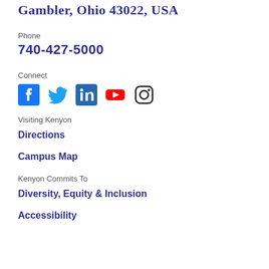Gambler, Ohio 43022, USA
Phone
740-427-5000
Connect
[Figure (other): Social media icons: Facebook (blue), Twitter (blue bird), LinkedIn (dark blue), YouTube (red), Instagram (outline)]
Visiting Kenyon
Directions
Campus Map
Kenyon Commits To
Diversity, Equity & Inclusion
Accessibility